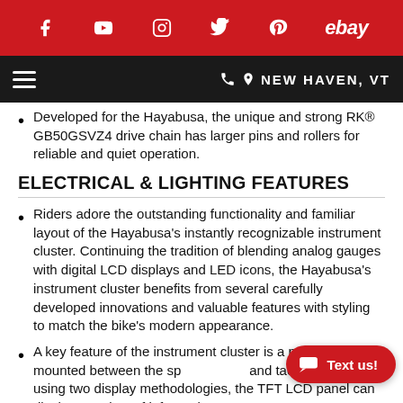Social media and navigation header bar with Facebook, YouTube, Instagram, Twitter, Pinterest, eBay icons; NEW HAVEN, VT
Developed for the Hayabusa, the unique and strong RK® GB50GSVZ4 drive chain has larger pins and rollers for reliable and quiet operation.
ELECTRICAL & LIGHTING FEATURES
Riders adore the outstanding functionality and familiar layout of the Hayabusa's instantly recognizable instrument cluster. Continuing the tradition of blending analog gauges with digital LCD displays and LED icons, the Hayabusa's instrument cluster benefits from several carefully developed innovations and valuable features with styling to match the bike's modern appearance.
A key feature of the instrument cluster is a panel centrally mounted between the speedometer and tachometer. By using two display methodologies, the TFT LCD panel can display a variety of information